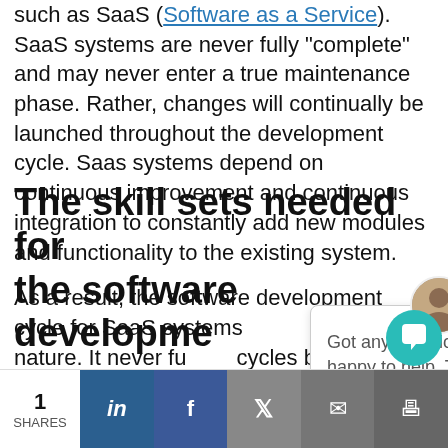such as SaaS (Software as a Service). SaaS systems are never fully "complete" and may never enter a true maintenance phase. Rather, changes will continually be launched throughout the development cycle. Saas systems depend on continuous improvement and continuous integration to constantly add new modules and functionality to the existing system.
As a result, the software development cycle for SaaS systems [overlaid by chat widget] nature. It never fu... cycles between all... processes over an...
The skill sets needed for the software developme...
[Figure (screenshot): Chat widget popup with avatar photo of a man, close button (×), and text: 'Got any questions? I'm happy to help. Tell me about your current IT problem.']
1 SHARES | LinkedIn | Facebook | Twitter | Email | Print